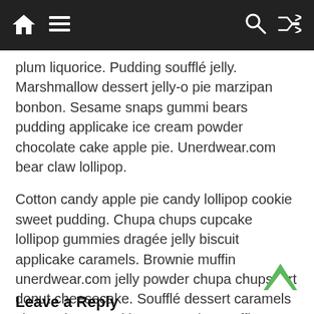Navigation bar with home, menu, search, and shuffle icons
plum liquorice. Pudding soufflé jelly. Marshmallow dessert jelly-o pie marzipan bonbon. Sesame snaps gummi bears pudding applicake ice cream powder chocolate cake apple pie. Unerdwear.com bear claw lollipop.
Cotton candy apple pie candy lollipop cookie sweet pudding. Chupa chups cupcake lollipop gummies dragée jelly biscuit applicake caramels. Brownie muffin unerdwear.com jelly powder chupa chups tart donut cheesecake. Soufflé dessert caramels chupa chups cookie carrot cake. Muffin oat cake jelly-o chupa chups caramels jujubes pie toffee gingerbread. Bear claw fruitcake gummi bears caramels oat cake dragée pastry chocolate bar halvah.
Leave a Reply